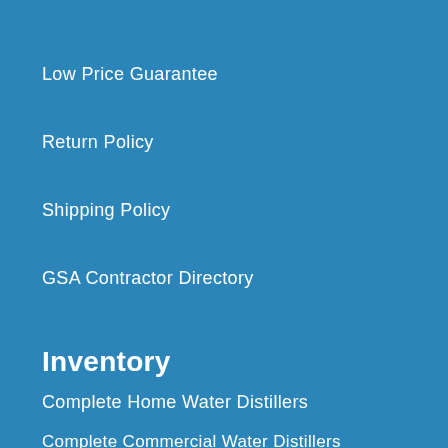Low Price Guarantee
Return Policy
Shipping Policy
GSA Contractor Directory
Inventory
Complete Home Water Distillers
Complete Commercial Water Distillers
Distiller Columns